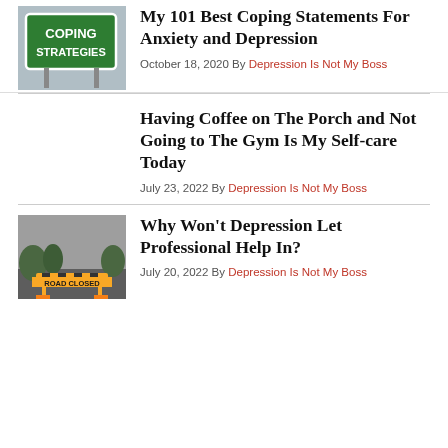[Figure (photo): Green road sign reading COPING STRATEGIES]
My 101 Best Coping Statements For Anxiety and Depression
October 18, 2020 By Depression Is Not My Boss
Having Coffee on The Porch and Not Going to The Gym Is My Self-care Today
July 23, 2022 By Depression Is Not My Boss
[Figure (photo): Road closed barrier sign on a street]
Why Won't Depression Let Professional Help In?
July 20, 2022 By Depression Is Not My Boss